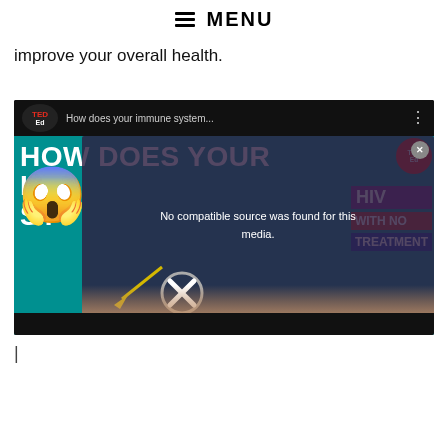MENU
improve your overall health.
[Figure (screenshot): Embedded TED-Ed YouTube video titled 'How does your immune system...' showing HOW DOES YOUR IMMUNE SYSTEM text on teal background with a screaming face emoji overlay, badges reading HIV, WITH NO, TREATMENT, a red TED-Ed circle logo, and a media error popup saying 'No compatible source was found for this media.' with an X button and a yellow arrow pointing to an X symbol.]
|